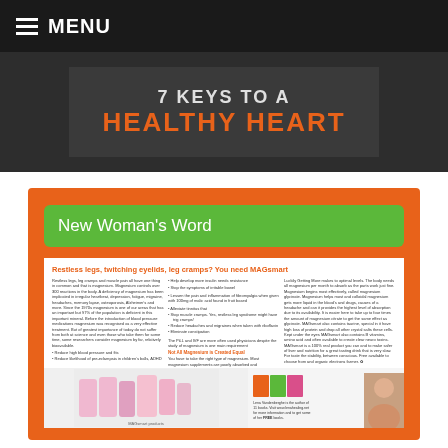MENU
[Figure (illustration): Dark banner with text '7 KEYS TO A HEALTHY HEART' where 'HEALTHY HEART' is in orange and '7 KEYS TO A' is in light gray, on a dark gray background]
New Woman's Word
[Figure (screenshot): Magazine article page with headline 'Restless legs, twitching eyelids, leg cramps? You need MAGsmart' in orange, followed by columns of small body text about magnesium deficiency, bullet points listing benefits, and a section 'Not All Magnesium is Created Equal'. Bottom shows product bottles and author photo.]